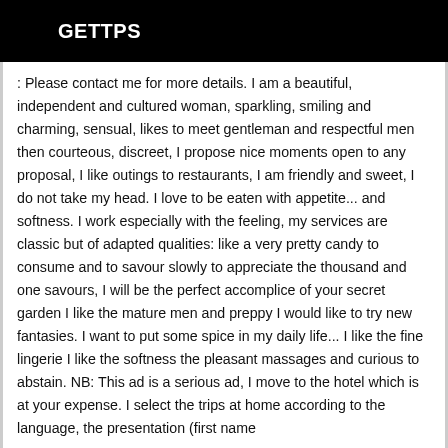GETTPS
: Please contact me for more details. I am a beautiful, independent and cultured woman, sparkling, smiling and charming, sensual, likes to meet gentleman and respectful men then courteous, discreet, I propose nice moments open to any proposal, I like outings to restaurants, I am friendly and sweet, I do not take my head. I love to be eaten with appetite... and softness. I work especially with the feeling, my services are classic but of adapted qualities: like a very pretty candy to consume and to savour slowly to appreciate the thousand and one savours, I will be the perfect accomplice of your secret garden I like the mature men and preppy I would like to try new fantasies. I want to put some spice in my daily life... I like the fine lingerie I like the softness the pleasant massages and curious to abstain. NB: This ad is a serious ad, I move to the hotel which is at your expense. I select the trips at home according to the language, the presentation (first name